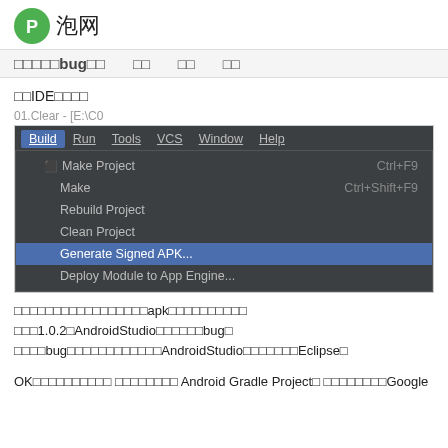泡网
□□□□□bug□□　　□□　　□□　　□□
□□IDE□□□□
[Figure (screenshot): Android Studio IDE screenshot showing Build menu open with options: Make Project (Ctrl+F9), Make (Ctrl+Shift+F9), Rebuild Project, Clean Project, Generate Signed APK... (highlighted), Deploy Module to App Engine...]
□□□□□□□□□□□□□□□□□apk□□□□□□□□□□□□□1.0.2□AndroidStudio□□□□□□bug□□□□□bug□□□□□□□□□□□□AndroidStudio□□□□□□□Eclipse□
OK□□□□□□□□□□ □□□□□□□□ Android Gradle Project□ □□□□□□□□Google